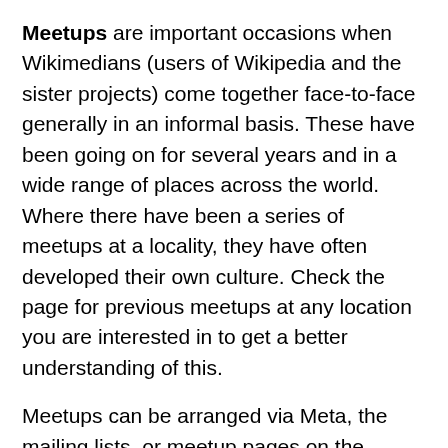Meetups are important occasions when Wikimedians (users of Wikipedia and the sister projects) come together face-to-face generally in an informal basis. These have been going on for several years and in a wide range of places across the world. Where there have been a series of meetups at a locality, they have often developed their own culture. Check the page for previous meetups at any location you are interested in to get a better understanding of this.
Meetups can be arranged via Meta, the mailing lists, or meetup pages on the individual projects. If you have attended a meetup, you can add a little report here (and link to a longer one, if you're in the mood of writing much).
Also see the page for Wikimedia and MediaWiki related events - presentations at conferences, fairs, arts events etc. This is usually a good occasion to meet other people